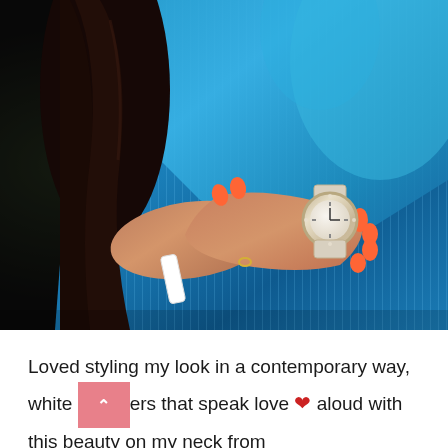[Figure (photo): A woman wearing a shiny blue dress with orange nails, white bracelet on one wrist and a watch on the other, hands crossed over her torso. Dark hair visible on the left side. Dark background.]
Loved styling my look in a contemporary way, white [button] ers that speak love ❤ aloud with this beauty on my neck from